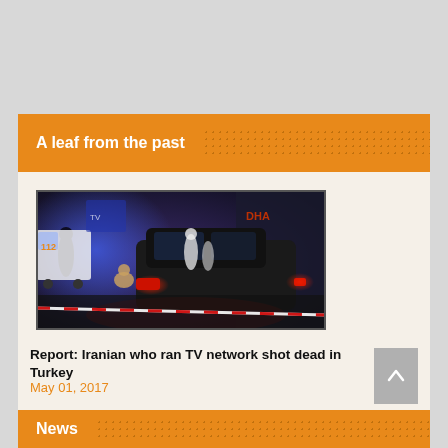A leaf from the past
[Figure (photo): Nighttime crime scene photo showing people near a car with red tail lights, police tape across the road, and a DHA watermark. Scene appears to be a shooting incident in Turkey.]
Report: Iranian who ran TV network shot dead in Turkey
May 01, 2017
News